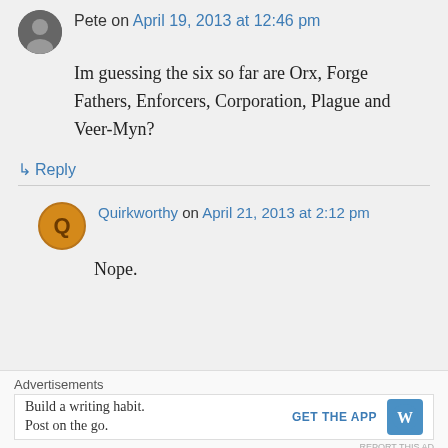Pete on April 19, 2013 at 12:46 pm
Im guessing the six so far are Orx, Forge Fathers, Enforcers, Corporation, Plague and Veer-Myn?
↳ Reply
Quirkworthy on April 21, 2013 at 2:12 pm
Nope.
Advertisements
Build a writing habit. Post on the go.
GET THE APP